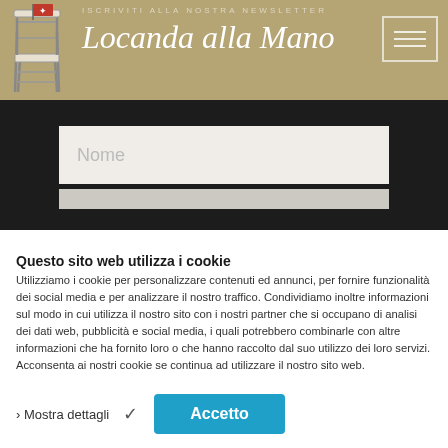[Figure (screenshot): Website banner for 'Locanda alla Mano' newsletter subscription page with dark background, tan header bar, chair logo, brand name in cursive script, hamburger menu icon, and subtitle text about events preview]
Scoprirai in anteprima tutti gli eventi, serate degustazione, menù e tanto altro!
Questo sito web utilizza i cookie
Utilizziamo i cookie per personalizzare contenuti ed annunci, per fornire funzionalità dei social media e per analizzare il nostro traffico. Condividiamo inoltre informazioni sul modo in cui utilizza il nostro sito con i nostri partner che si occupano di analisi dei dati web, pubblicità e social media, i quali potrebbero combinarle con altre informazioni che ha fornito loro o che hanno raccolto dal suo utilizzo dei loro servizi. Acconsenta ai nostri cookie se continua ad utilizzare il nostro sito web.
› Mostra dettagli   ✓   Accetto